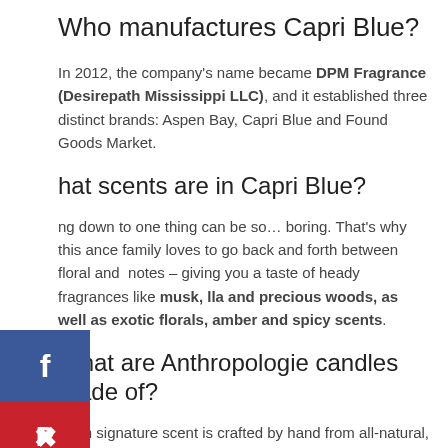Who manufactures Capri Blue?
In 2012, the company's name became DPM Fragrance (Desirepath Mississippi LLC), and it established three distinct brands: Aspen Bay, Capri Blue and Found Goods Market.
hat scents are in Capri Blue?
ng down to one thing can be so… boring. That's why this ance family loves to go back and forth between floral and  notes – giving you a taste of heady fragrances like musk, lla and precious woods, as well as exotic florals, amber and spicy scents.
[Figure (infographic): Social sharing sidebar with Facebook (blue), Pinterest (red), and Email (green) buttons]
What are Anthropologie candles made of?
Each signature scent is crafted by hand from all-natural, food-grade ingredients like coconut wax and essential oils, creating...